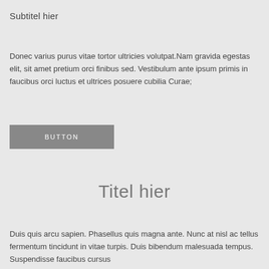Subtitel hier
Donec varius purus vitae tortor ultricies volutpat.Nam gravida egestas elit, sit amet pretium orci finibus sed. Vestibulum ante ipsum primis in faucibus orci luctus et ultrices posuere cubilia Curae;
BUTTON
Titel hier
Duis quis arcu sapien. Phasellus quis magna ante. Nunc at nisl ac tellus fermentum tincidunt in vitae turpis. Duis bibendum malesuada tempus. Suspendisse faucibus cursus